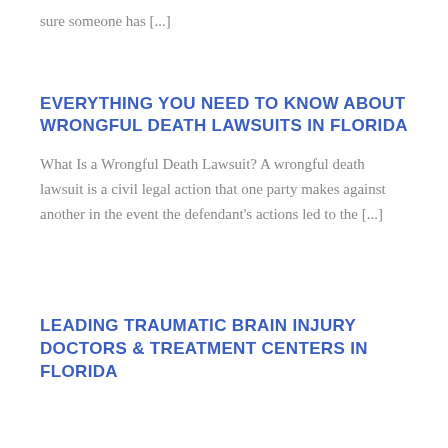sure someone has [...]
EVERYTHING YOU NEED TO KNOW ABOUT WRONGFUL DEATH LAWSUITS IN FLORIDA
What Is a Wrongful Death Lawsuit? A wrongful death lawsuit is a civil legal action that one party makes against another in the event the defendant’s actions led to the [...]
LEADING TRAUMATIC BRAIN INJURY DOCTORS & TREATMENT CENTERS IN FLORIDA